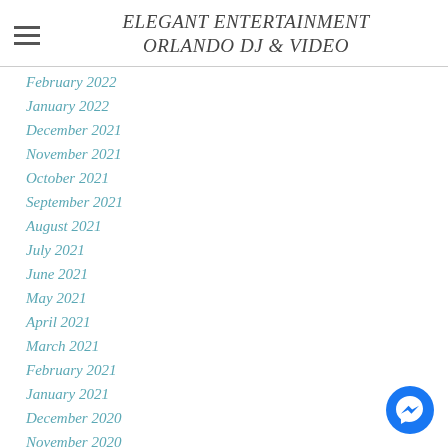ELEGANT ENTERTAINMENT ORLANDO DJ & VIDEO
February 2022
January 2022
December 2021
November 2021
October 2021
September 2021
August 2021
July 2021
June 2021
May 2021
April 2021
March 2021
February 2021
January 2021
December 2020
November 2020
October 2020
[Figure (illustration): Facebook Messenger chat button (blue circle with white lightning bolt/messenger icon), fixed bottom-right corner]